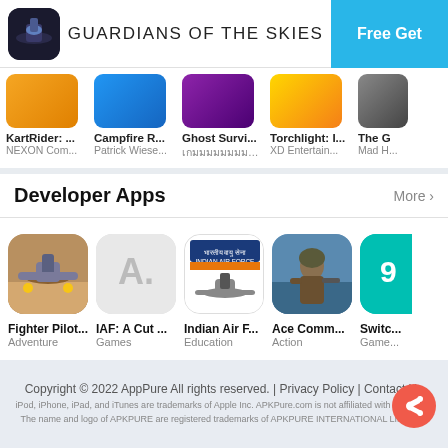GUARDIANS OF THE SKIES | Free Get
[Figure (screenshot): App store strip showing KartRider (NEXON Com...), Campfire R... (Patrick Wiese...), Ghost Survi... (unintelligible), Torchlight: I... (XD Entertain...), The G... (Mad H...)]
Developer Apps | More >
[Figure (screenshot): Developer apps row: Fighter Pilot... (Adventure), IAF: A Cut... (Games), Indian Air F... (Education), Ace Comm... (Action), Switc... (Game...)]
Copyright © 2022 AppPure All rights reserved. | Privacy Policy | Contact Us
iPod, iPhone, iPad, and iTunes are trademarks of Apple Inc. APKPure.com is not affiliated with Apple Inc. The name and logo of APKPURE are registered trademarks of APKPURE INTERNATIONAL LIMITED.